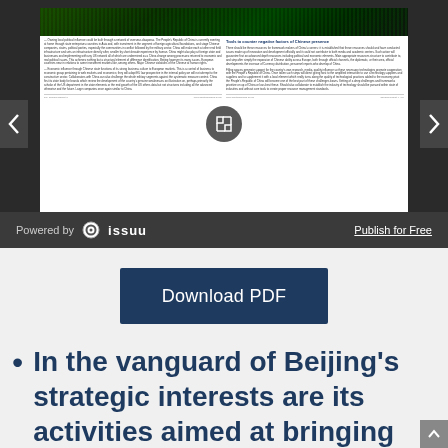[Figure (screenshot): Issuu document viewer showing a report page about Tools to counter negative factors of Chinese presence, with navigation arrows, expand icon, and Issuu branding bar with Powered by issuu and Publish for Free link]
[Figure (other): Dark blue Download PDF button]
In the vanguard of Beijing's strategic interests are its activities aimed at bringing